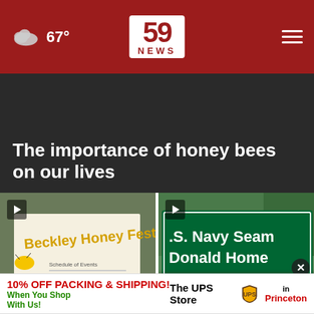67° 59 NEWS
The importance of honey bees on our lives
[Figure (screenshot): Video thumbnail for Beckley's Honey Festival with play button]
Beckley's Honey Festival returns for fourth year
[Figure (screenshot): Video thumbnail for U.S. Navy Seaman Donald Homer Wheeler with green road sign]
Remembering U.S. Navy Seaman Donald Homer Wheeler
[Figure (photo): Advertisement banner: 10% OFF PACKING & SHIPPING! When You Shop With Us! The UPS Store in Princeton]